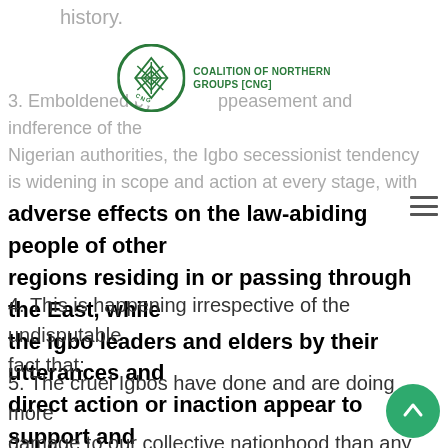history.
[Figure (logo): Coalition of Northern Groups (CNG) logo — circular green emblem with grid/diamond pattern, text reading COALITION OF NORTHERN GROUPS [CNG] to the right]
3. Emboldened by the appeasement and indifference of the Nigerian authorities, the Igbo secessionist tendency is widening in scope and action at every stage, with adverse effects on the law-abiding people of other regions residing in or passing through the East, while the Igbo leaders and elders by their utterances and direct action or inaction appear to support and encourage it.
4. This is happening irrespective of the undisputable fact that:
5. The cruel Igbos have done and are doing more damage to our collective nationhood than any other ethnic group; being responsible for the first violent